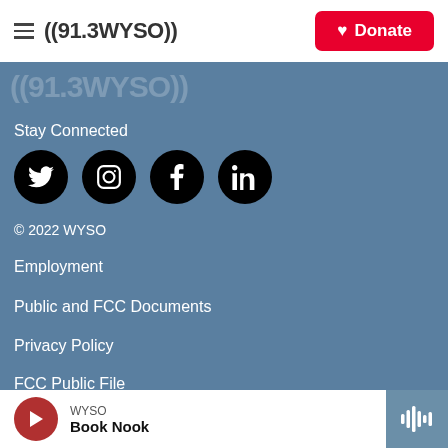((91.3WYSO)) — Donate
[Figure (logo): WYSO 91.3 radio station watermark logo in light color on blue background]
Stay Connected
[Figure (infographic): Four social media icons (Twitter, Instagram, Facebook, LinkedIn) as white icons on black circular backgrounds]
© 2022 WYSO
Employment
Public and FCC Documents
Privacy Policy
FCC Public File
WYSO — Book Nook